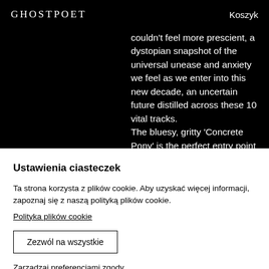GHOSTPOET  Koszyk
couldn't feel more prescient, a dystopian snapshot of the universal unease and anxiety we feel as we enter into this new decade, an uncertain future distilled across these 10 vital tracks.
The bluesy, gritty 'Concrete Pony' is the perfect entry point to the record – in Ohare's own
Ustawienia ciasteczek
Ta strona korzysta z plików cookie. Aby uzyskać więcej informacji, zapoznaj się z naszą polityką plików cookie.
Polityka plików cookie
Zezwól na wszystkie
Zarządzaj preferencjami zgody